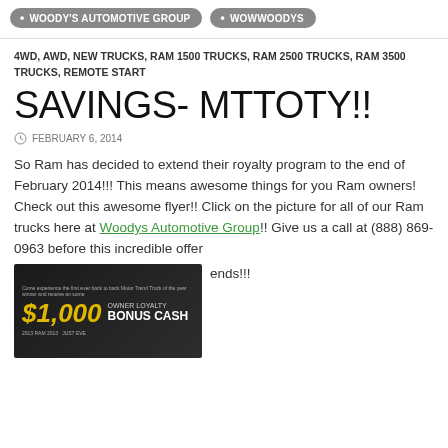WOODY'S AUTOMOTIVE GROUP • WOWWOODYS
4WD, AWD, NEW TRUCKS, RAM 1500 TRUCKS, RAM 2500 TRUCKS, RAM 3500 TRUCKS, REMOTE START
SAVINGS- MTTOTY!!
FEBRUARY 6, 2014
So Ram has decided to extend their royalty program to the end of February 2014!!! This means awesome things for you Ram owners! Check out this awesome flyer!! Click on the picture for all of our Ram trucks here at Woodys Automotive Group!! Give us a call at (888) 869-0963 before this incredible offer ends!!!
[Figure (photo): Flyer showing $1,000 Owner Loyalty Bonus Cash promotion]